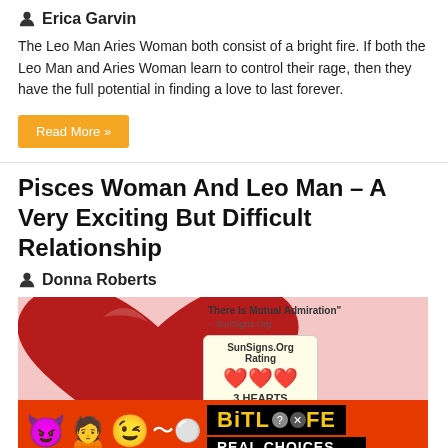Erica Garvin
The Leo Man Aries Woman both consist of a bright fire. If both the Leo Man and Aries Woman learn to control their rage, then they have the full potential in finding a love to last forever.
Read More »
Pisces Woman And Leo Man – A Very Exciting But Difficult Relationship
Donna Roberts
[Figure (infographic): Promotional image for Pisces Woman and Leo Man article showing a large red heart on a pink background with text 'There Is Mutual Admiration' and a SunSigns.Org Rating box showing 3 hearts, plus PISCES WOMAN text at the bottom. Overlaid by a BitLife REAL CHOICES advertisement banner.]